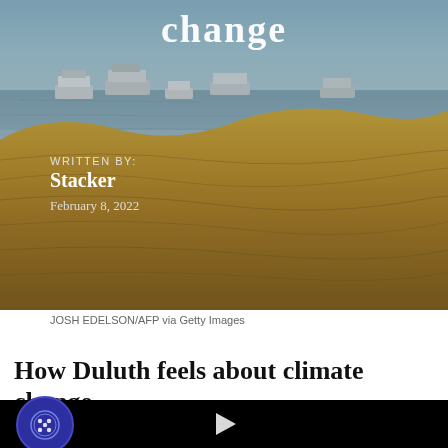[Figure (photo): Aerial or landscape photo of a drought-affected lake or reservoir with houseboats on the water and dry, terraced brown hillside. Overlay title text 'change' visible at top center.]
WRITTEN BY:
Stacker
February 8, 2022
JOSH EDELSON/AFP via Getty Images
How Duluth feels about climate change
[Figure (screenshot): Black video player with white play button triangle in center]